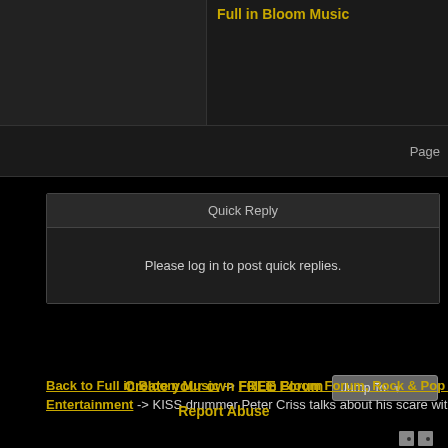Full in Bloom Music
Page
Quick Reply
Please log in to post quick replies.
Back to Full in Bloom Music -> Full in Bloom Forum, Rock & Pop Music News, Real Estate News, Tour Dates -> The Hall of Music & Entertainment -> KISS drummer Peter Criss talks about his scare with breast cancer
Jump To:
Create your own FREE Forum
Report Abuse